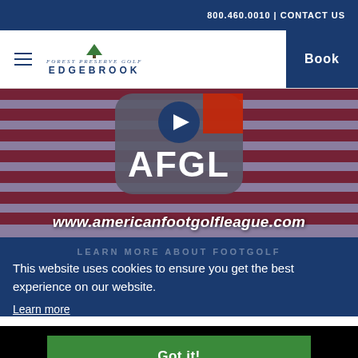800.460.0010 | CONTACT US
[Figure (screenshot): Navigation bar with hamburger menu, Forest Preserve Golf Edgebrook logo, and Book button on dark blue background]
[Figure (screenshot): Hero image with American flag background, AFGL logo with play button, and www.americanfootgolfleague.com text]
LEARN MORE ABOUT FOOTGOLF
This website uses cookies to ensure you get the best experience on our website.
Learn more
Got it!
[Figure (logo): Indigo Sports logo at bottom]